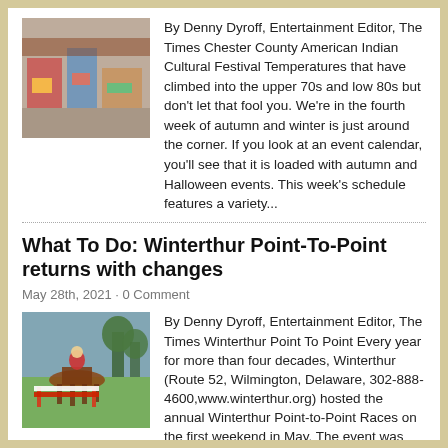[Figure (photo): Indoor market or craft fair with colorful items on tables]
By Denny Dyroff, Entertainment Editor, The Times Chester County American Indian Cultural Festival Temperatures that have climbed into the upper 70s and low 80s but don't let that fool you. We're in the fourth week of autumn and winter is just around the corner. If you look at an event calendar, you'll see that it is loaded with autumn and Halloween events. This week's schedule features a variety...
What To Do: Winterthur Point-To-Point returns with changes
May 28th, 2021 · 0 Comment
[Figure (photo): Horse jumping at Winterthur Point-To-Point race event]
By Denny Dyroff, Entertainment Editor, The Times Winterthur Point To Point Every year for more than four decades, Winterthur (Route 52, Wilmington, Delaware, 302-888-4600,www.winterthur.org) hosted the annual Winterthur Point-to-Point Races on the first weekend in May. The event was one of the Brandywine Valley's most cherished traditions. Last year, COVID-19 caused a shutdown that knocked out traditions.